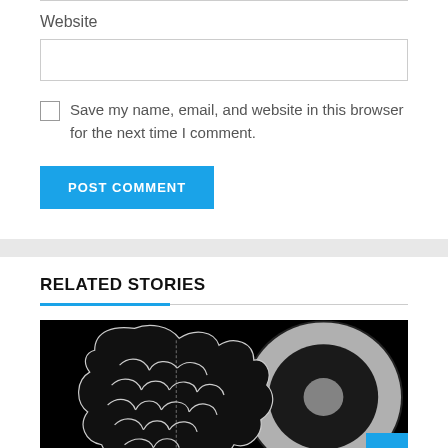Website
Save my name, email, and website in this browser for the next time I comment.
POST COMMENT
RELATED STORIES
[Figure (illustration): Black and white illustration showing a brain on the left half and a circular yin-yang style shape on the right half, against a dark background.]